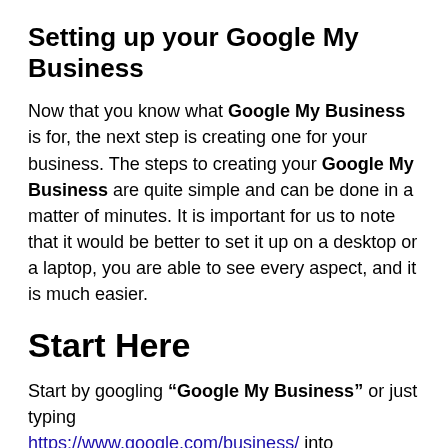Setting up your Google My Business
Now that you know what Google My Business is for, the next step is creating one for your business. The steps to creating your Google My Business are quite simple and can be done in a matter of minutes. It is important for us to note that it would be better to set it up on a desktop or a laptop, you are able to see every aspect, and it is much easier.
Start Here
Start by googling “Google My Business” or just typing https://www.google.com/business/ into